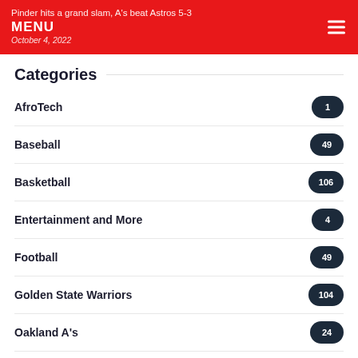Pinder hits a grand slam, A's beat Astros 5-3
MENU
October 4, 2022
Categories
AfroTech 1
Baseball 49
Basketball 106
Entertainment and More 4
Football 49
Golden State Warriors 104
Oakland A's 24